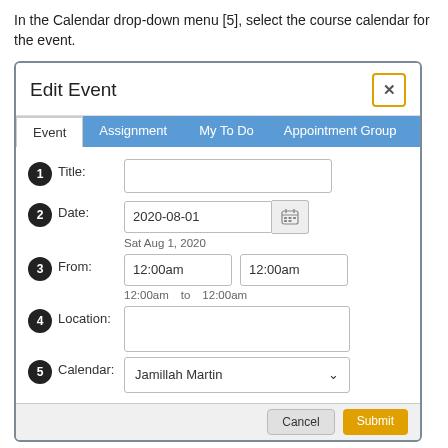In the Calendar drop-down menu [5], select the course calendar for the event.
[Figure (screenshot): Edit Event modal dialog with tabs (Event, Assignment, My To Do, Appointment Group), and form fields numbered 1-5: Title, Date (2020-08-01, Sat Aug 1, 2020), From (12:00am to 12:00am), Location, and Calendar (Jamillah Martin dropdown).]